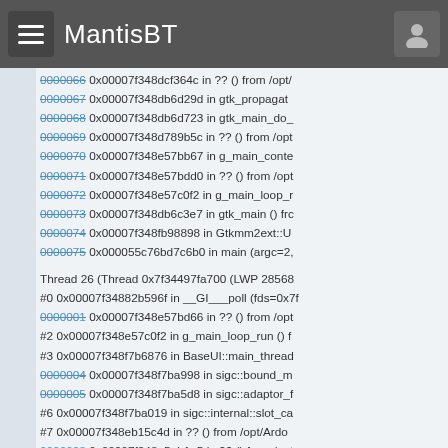MantisBT
Stack trace lines 66-75 and Thread 26 debug output showing memory addresses and function calls
0000066 0x00007f348dcf364c in ?? () from /opt/
0000067 0x00007f348db6d29d in gtk_propagat
0000068 0x00007f348db6d723 in gtk_main_do_
0000069 0x00007f348d789b5c in ?? () from /opt
0000070 0x00007f348e57bb67 in g_main_conte
0000071 0x00007f348e57bdd0 in ?? () from /opt
0000072 0x00007f348e57c0f2 in g_main_loop_r
0000073 0x00007f348db6c3e7 in gtk_main () frc
0000074 0x00007f348fb98898 in Gtkmm2ext::U
0000075 0x000055c76bd7c6b0 in main (argc=2,
Thread 26 (Thread 0x7f34497fa700 (LWP 28568
#0 0x00007f34882b596f in __GI___poll (fds=0x7f
0000001 0x00007f348e57bd66 in ?? () from /opt
#2 0x00007f348e57c0f2 in g_main_loop_run () f
#3 0x00007f348f7b6876 in BaseUI::main_thread
0000004 0x00007f348f7ba998 in sigc::bound_m
0000005 0x00007f348f7ba5d8 in sigc::adaptor_f
#6 0x00007f348f7ba019 in sigc::internal::slot_ca
#7 0x00007f348eb15c4d in ?? () from /opt/Ardo
0000008 0x00007f348e5ab1e5 in ?? () from /opt
0000009 0x00007f348a697609 in start_thread (a